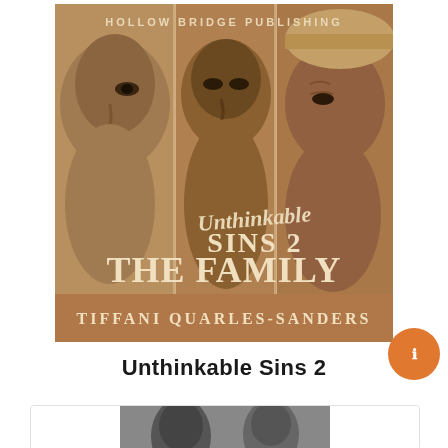[Figure (illustration): Book cover of 'Unthinkable Sins 2: The Family' by Tiffani Quarles-Sanders, published by Hollow Bridge Publishing. The cover features a sepia-toned collage of three faces (two women and a man) arranged in vertical panels. The title 'Unthinkable SINS 2 THE FAMILY' is displayed in large white text over the center, with 'Unthinkable' written in cursive script above 'SINS 2'. The author's name 'TIFFANI QUARLES-SANDERS' appears in a brown banner at the bottom.]
Unthinkable Sins 2
[Figure (photo): Partial view of another book cover at the bottom of the page, black and white photo visible]